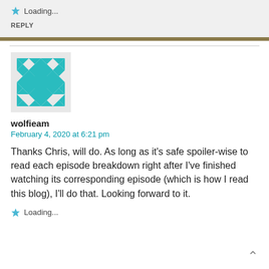★ Loading...
REPLY
[Figure (illustration): Geometric teal/cyan patterned avatar image for user wolfieam]
wolfieam
February 4, 2020 at 6:21 pm
Thanks Chris, will do. As long as it's safe spoiler-wise to read each episode breakdown right after I've finished watching its corresponding episode (which is how I read this blog), I'll do that. Looking forward to it.
★ Loading...